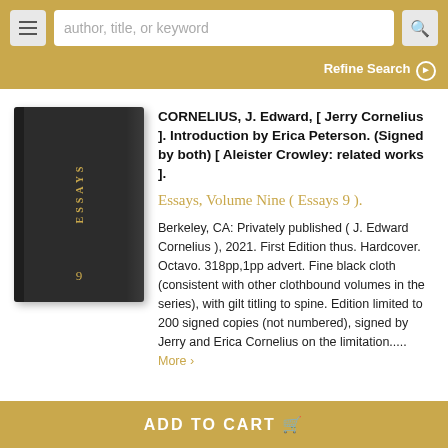[Figure (screenshot): Navigation bar with hamburger menu button, search box with placeholder 'author, title, or keyword', and search icon button on golden/amber background]
Refine Search ▶
[Figure (photo): A dark navy/black hardcover book with gilt spine titling reading 'ESSAYS' and the number '9' at the bottom of the spine]
CORNELIUS, J. Edward, [ Jerry Cornelius ]. Introduction by Erica Peterson. (Signed by both) [ Aleister Crowley: related works ].
Essays, Volume Nine ( Essays 9 ).
Berkeley, CA: Privately published ( J. Edward Cornelius ), 2021. First Edition thus. Hardcover. Octavo. 318pp,1pp advert. Fine black cloth (consistent with other clothbound volumes in the series), with gilt titling to spine. Edition limited to 200 signed copies (not numbered), signed by Jerry and Erica Cornelius on the limitation.....  More >
ADD TO CART 🛒